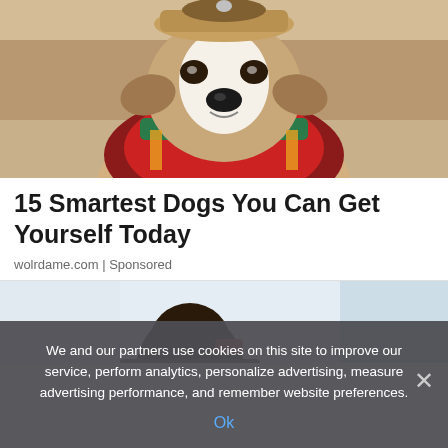[Figure (photo): A dog dressed in colorful traditional/adventurer costume with a hat, red and green fabric clothing, photographed against a sandy desert background, looking directly at the camera.]
15 Smartest Dogs You Can Get Yourself Today
wolrdame.com | Sponsored
[Figure (photo): Partial view of a person (seen from behind/side) with dark hair, wearing glasses, against a light blue/grey background.]
We and our partners use cookies on this site to improve our service, perform analytics, personalize advertising, measure advertising performance, and remember website preferences.
Ok